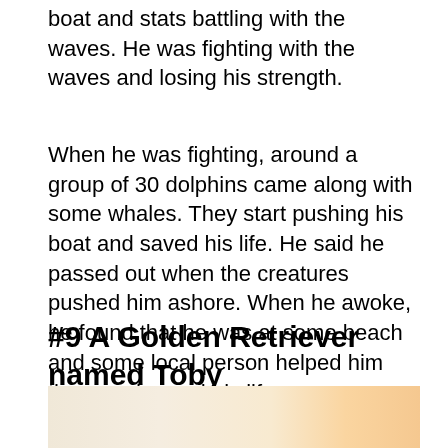boat and stats battling with the waves. He was fighting with the waves and losing his strength.
When he was fighting, around a group of 30 dolphins came along with some whales. They start pushing his boat and saved his life. He said he passed out when the creatures pushed him ashore. When he awoke, he found that he was at some beach and some local person helped him there and saved his life.
#9 A Golden Retriever named Toby
[Figure (photo): Partial view of a photo, appearing to show warm golden/orange tones, likely an image of a Golden Retriever named Toby.]